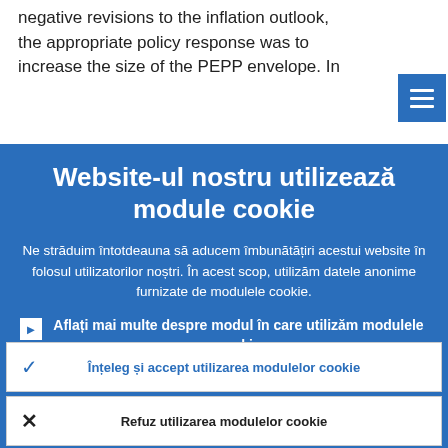negative revisions to the inflation outlook, the appropriate policy response was to increase the size of the PEPP envelope. In
[Figure (screenshot): Cookie consent overlay modal with blue background containing title 'Website-ul nostru utilizează module cookie', explanatory text, a link about cookie usage, and two buttons: accept and refuse.]
Website-ul nostru utilizează module cookie
Ne străduim întotdeauna să aducem îmbunătățiri acestui website în folosul utilizatorilor noștri. În acest scop, utilizăm datele anonime furnizate de modulele cookie.
Aflați mai multe despre modul în care utilizăm modulele cookie
Înțeleg și accept utilizarea modulelor cookie
Refuz utilizarea modulelor cookie